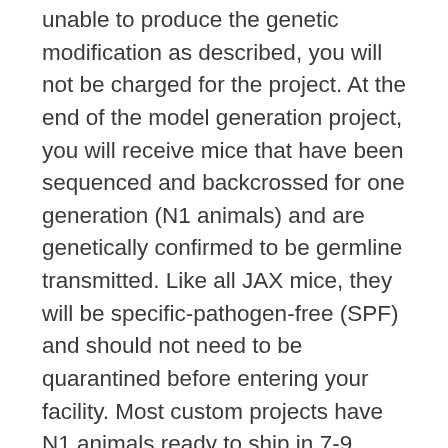unable to produce the genetic modification as described, you will not be charged for the project. At the end of the model generation project, you will receive mice that have been sequenced and backcrossed for one generation (N1 animals) and are genetically confirmed to be germline transmitted. Like all JAX mice, they will be specific-pathogen-free (SPF) and should not need to be quarantined before entering your facility. Most custom projects have N1 animals ready to ship in 7-9 months, depending on the complexity of the model. Custom projects also include cryopreservation of your new